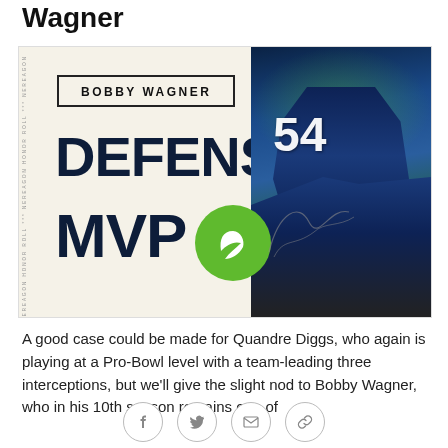Wagner
[Figure (photo): Bobby Wagner Defensive MVP graphic with photo of player #54 in Seattle Seahawks uniform running on field]
A good case could be made for Quandre Diggs, who again is playing at a Pro-Bowl level with a team-leading three interceptions, but we'll give the slight nod to Bobby Wagner, who in his 10th season remains one of